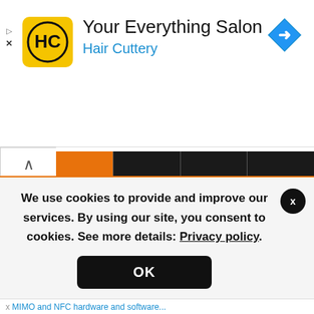[Figure (screenshot): Ad banner for Hair Cuttery - Your Everything Salon with HC logo in yellow circle and blue navigation arrow icon]
[Figure (screenshot): Browser navigation bar with back button (chevron up) and a progress bar showing orange fill on dark background]
[Figure (photo): Samsung Galaxy Z Fold 3 5G smartphone shown folded, in silver/white color]
The Samsung Galaxy Z Fold 3 (SM-F9260) is a good Android phone with 2.84GHz Octa-Core processor that allows run games and heavy applications.
With one SIM card slot, the Samsung
We use cookies to provide and improve our services. By using our site, you consent to cookies. See more details: Privacy policy.
OK
x MIMO and NFC...